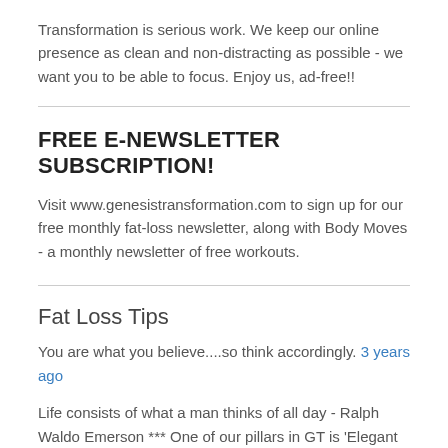Transformation is serious work. We keep our online presence as clean and non-distracting as possible - we want you to be able to focus. Enjoy us, ad-free!!
FREE E-NEWSLETTER SUBSCRIPTION!
Visit www.genesistransformation.com to sign up for our free monthly fat-loss newsletter, along with Body Moves - a monthly newsletter of free workouts.
Fat Loss Tips
You are what you believe....so think accordingly. 3 years ago
Life consists of what a man thinks of all day - Ralph Waldo Emerson *** One of our pillars in GT is 'Elegant think… twitter.com/i/web/status/1… 3 years ago
Research shows that we have 60,000-80,000 thoughts per day pass